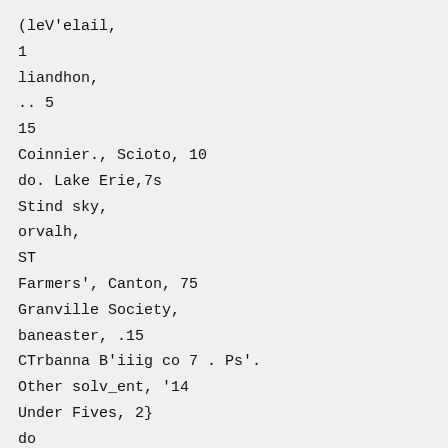(leV'elail,
1
liandhon,
.. 5
15
Coinnier., Scioto, 10
do. Lake Erie,7s
Stind sky,
orvalh,
ST
Farmers', Canton, 75
Granville Society,
baneaster, .15
CTrbanna B'iiig co 7 . Ps'.
Other solv_ent, '14
Under Fives, 2}
do
Pike
do
do'',
Covington
Pike
• do
• AVotidword